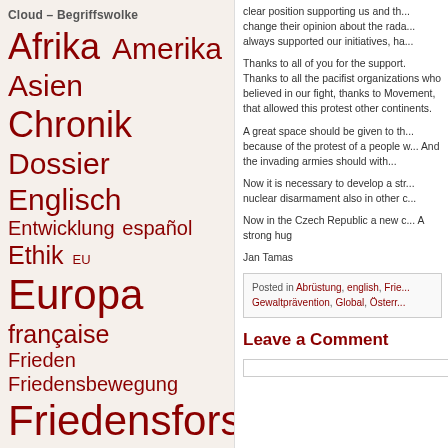Cloud – Begriffswolke
[Figure (infographic): Tag cloud / Begriffswolke with German words in varying sizes and dark red color, including: Afrika, Amerika, Asien, Chronik, Dossier, Englisch, Entwicklung, español, Ethik, EU, Europa, française, Frieden, Friedensbewegung, Friedensforschung, Friedensjournalismus, Friedenskultur, Friedensorganisationen, Friedenspädagogik, Friedensstadt, Friedensstifter, Friedensstifterin, Gewalt, Global, Globalisierung, interkult, Jobs, Konflikte, Krieg, Menschenrechte, Musik, Nahost, Personen, Recht, Redaktion, Region, Religion, Rezensionen, Soziales, USA, Volksabstimmung, Waffenhandel, Wien, Wirtschaft, Witz und]
clear position supporting us and th... change their opinion about the rada... always supported our initiatives, ha...
Thanks to all of you for the support. Thanks to all the pacifist organizations who believed in our fight, thanks to Movement, that allowed this protest other continents.
A great space should be given to th... because of the protest of a people w... And the invading armies should with...
Now it is necessary to develop a str... nuclear disarmament also in other c...
Now in the Czech Republic a new c... A strong hug
Jan Tamas
Posted in Abrüstung, english, Frie... Gewaltprävention, Global, Österr...
Leave a Comment